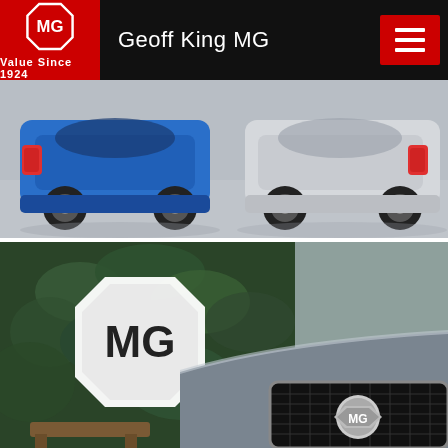[Figure (logo): MG octagon logo with 'Value Since 1924' text on red background]
Geoff King MG
[Figure (other): Hamburger menu icon on red background in top right corner of navigation bar]
[Figure (photo): Two MG cars viewed from the rear on a light grey showroom floor — a blue MG on the left and a white/silver MG on the right]
[Figure (photo): MG dealership showroom interior: large white MG octagon logo on a green foliage wall, close-up of the front grille of a silver/grey MG car with MG badge in centre]